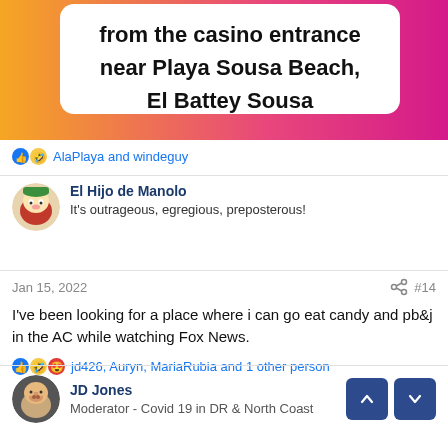[Figure (screenshot): Social media image with gradient orange-to-pink background and bold black text on white speech bubble reading 'from the casino entrance near Playa Sousa Beach, El Battey Sousa']
AlaPlaya and windeguy
El Hijo de Manolo
It's outrageous, egregious, preposterous!
Jan 15, 2022  #14
I've been looking for a place where i can go eat candy and pb&j in the AC while watching Fox News.
jd426, Auryn, MariaRubia and 1 other person
JD Jones
Moderator - Covid 19 in DR & North Coast